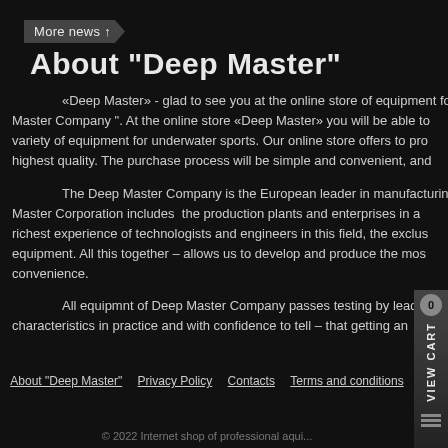More news ↑
About "Deep Master"
«Deep Master» - glad to see you at the online store of equipment fo Master Company ". At the online store «Deep Master» you will be able to variety of equipment for underwater sports. Our online store offers to pro highest quality. The purchase process will be simple and convenient, and
The Deep Master Company is the European leader in manufacturin Master Corporation includes the production plants and enterprises in a richest experience of technologists and engineers in this field, the exclus equipment. All this together – allows us to develop and produce the mos convenience.
All equipmnt of Deep Master Company passes testing by leading s characteristics in practice and with confidence to tell – that getting an
About "Deep Master"   Privacy Policy   Contacts   Terms and conditions
© 2022 Internet shop of professional aqui...